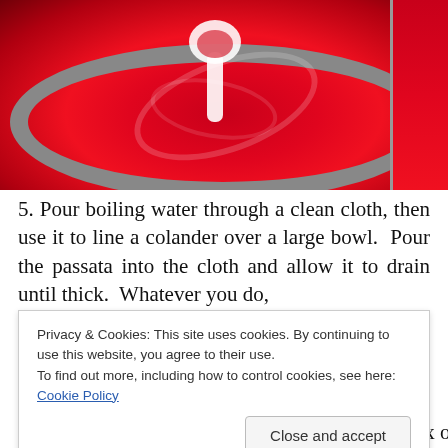[Figure (photo): A metal bowl filled with bright red passata (tomato puree) being stirred with a white spoon. A second red-filled container is visible at the top right.]
5. Pour boiling water through a clean cloth, then use it to line a colander over a large bowl.  Pour the passata into the cloth and allow it to drain until thick.  Whatever you do,
Privacy & Cookies: This site uses cookies. By continuing to use this website, you agree to their use.
To find out more, including how to control cookies, see here: Cookie Policy
frozen in small containers for future use.  We mix ours with